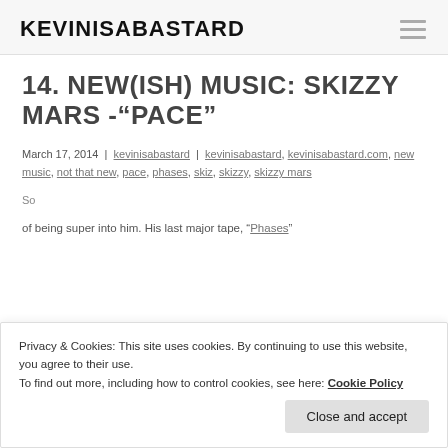KEVINISABASTARD
14. NEW(ISH) MUSIC: SKIZZY MARS -“PACE”
March 17, 2014 | kevinisabastard | kevinisabastard, kevinisabastard.com, new music, not that new, pace, phases, skiz, skizzy, skizzy mars
Some body text beginning with "So..." partially visible, then: of being super into him. His last major tape, “Phases”
Privacy & Cookies: This site uses cookies. By continuing to use this website, you agree to their use.
To find out more, including how to control cookies, see here: Cookie Policy